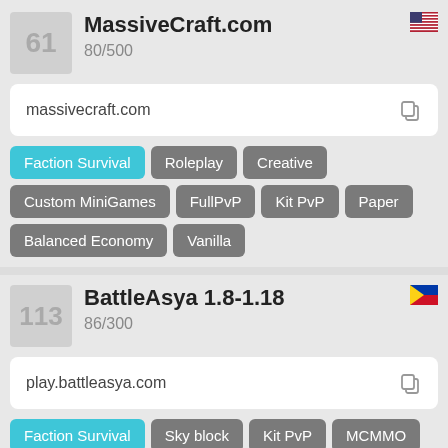61
MassiveCraft.com
80/500
massivecraft.com
Faction Survival
Roleplay
Creative
Custom MiniGames
FullPvP
Kit PvP
Paper
Balanced Economy
Vanilla
113
BattleAsya 1.8-1.18
86/300
play.battleasya.com
Faction Survival
Sky block
Kit PvP
MCMMO
Economy
Eggwars
Skywars
Custom Enchants
Towny
Bed Wars